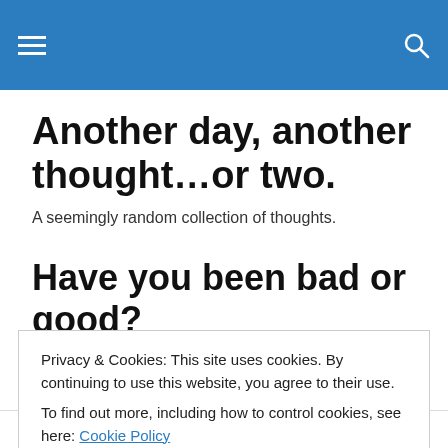Navigation header with hamburger menu and search icon
Another day, another thought…or two.
A seemingly random collection of thoughts.
Have you been bad or good?
It's funny the affect one person can have on kids, at least
Privacy & Cookies: This site uses cookies. By continuing to use this website, you agree to their use.
To find out more, including how to control cookies, see here: Cookie Policy
Close and accept